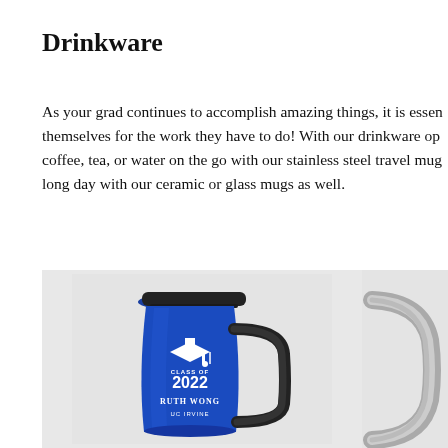Drinkware
As your grad continues to accomplish amazing things, it is essential they fuel themselves for the work they have to do! With our drinkware options, they can take coffee, tea, or water on the go with our stainless steel travel mugs, or wind down after a long day with our ceramic or glass mugs as well.
[Figure (photo): Blue stainless steel travel mug with black lid and handle, engraved with graduation cap, 'CLASS OF 2022', 'RUTH WONG', 'UC IRVINE']
[Figure (photo): Partial view of a silver/grey mug handle on light grey background]